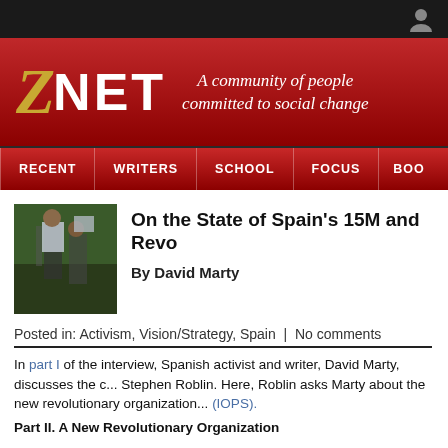ZNET — A community of people committed to social change
[Figure (screenshot): ZNet website navigation bar with RECENT, WRITERS, SCHOOL, FOCUS, BOO(KS) menu items]
[Figure (photo): Thumbnail photo of a person holding a sign at a protest or rally]
On the State of Spain's 15M and Revo...
By David Marty
Posted in: Activism, Vision/Strategy, Spain | No comments
In part I of the interview, Spanish activist and writer, David Marty, discusses the c... Stephen Roblin. Here, Roblin asks Marty about the new revolutionary organization... (IOPS).
Part II. A New Revolutionary Organization